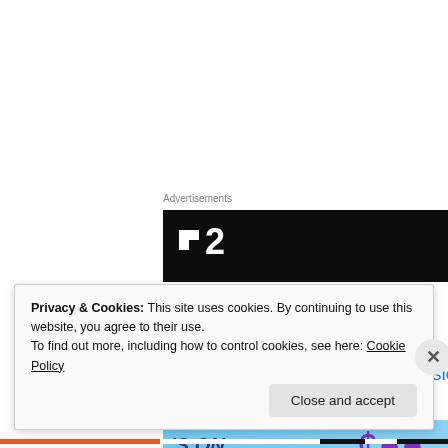Advertisements
[Figure (logo): Dark banner advertisement with white square logo and number 2, resembling a TV channel logo (e.g., Film2/Channel 2)]
and our Facebook pages:)
https://www.facebook.com/alexacoxartist and
https://www.facebook.com/BeckieStonehamMusic
Advertisements
[Figure (photo): Advertisement banner with blue background showing text 'S ON' and purple coin/money icons]
Privacy & Cookies: This site uses cookies. By continuing to use this website, you agree to their use.
To find out more, including how to control cookies, see here: Cookie Policy
Close and accept